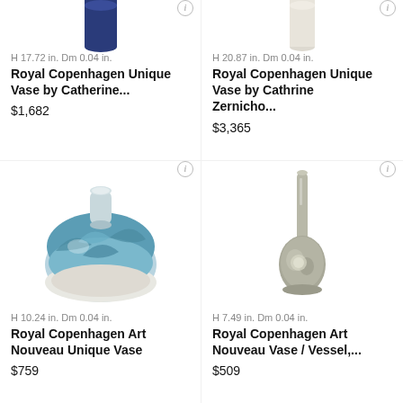[Figure (photo): Top portion of a dark blue ceramic vase on white background, partially cropped at top]
[Figure (photo): Top portion of a white/cream ceramic vase on white background, partially cropped at top]
H 17.72 in. Dm 0.04 in.
Royal Copenhagen Unique Vase by Catherine...
$1,682
H 20.87 in. Dm 0.04 in.
Royal Copenhagen Unique Vase by Cathrine Zernicho...
$3,365
[Figure (photo): Round squat ceramic vase with blue and white floral/leaf Art Nouveau design]
[Figure (photo): Tall slender bottle-neck ceramic vase in gray/green tones with subtle floral decoration]
H 10.24 in. Dm 0.04 in.
Royal Copenhagen Art Nouveau Unique Vase
$759
H 7.49 in. Dm 0.04 in.
Royal Copenhagen Art Nouveau Vase / Vessel,...
$509